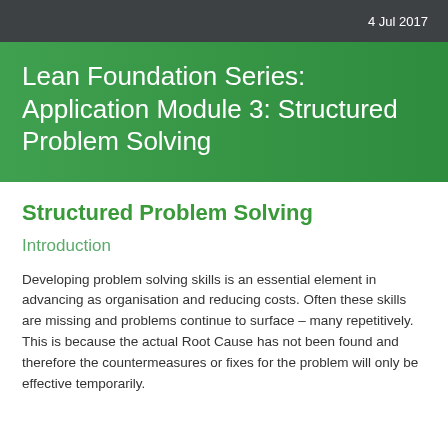4 Jul 2017
Lean Foundation Series: Application Module 3: Structured Problem Solving
Structured Problem Solving
Introduction
Developing problem solving skills is an essential element in advancing as organisation and reducing costs. Often these skills are missing and problems continue to surface – many repetitively. This is because the actual Root Cause has not been found and therefore the countermeasures or fixes for the problem will only be effective temporarily.